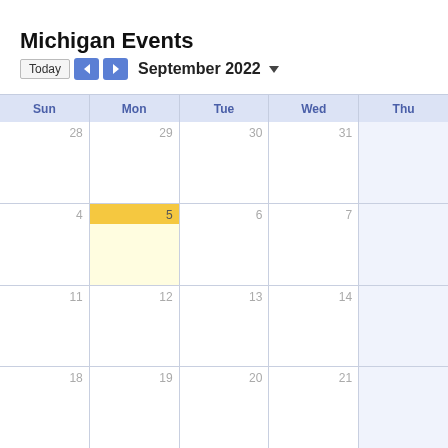Michigan Events
Today  ◀  ▶  September 2022 ▼
[Figure (other): Monthly calendar view for September 2022 showing a grid with columns for Sun, Mon, Tue, Wed, Thu. Rows show dates 28-31 (Aug), 4-7, 11-14, 18-21 (partial). Monday September 5 is highlighted with a yellow/gold background indicating today.]